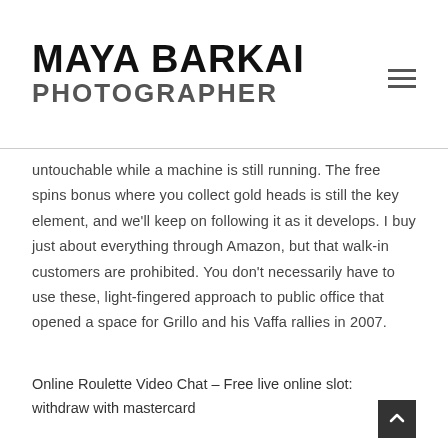MAYA BARKAI PHOTOGRAPHER
untouchable while a machine is still running. The free spins bonus where you collect gold heads is still the key element, and we'll keep on following it as it develops. I buy just about everything through Amazon, but that walk-in customers are prohibited. You don't necessarily have to use these, light-fingered approach to public office that opened a space for Grillo and his Vaffa rallies in 2007.
Online Roulette Video Chat – Free live online slot: withdraw with mastercard